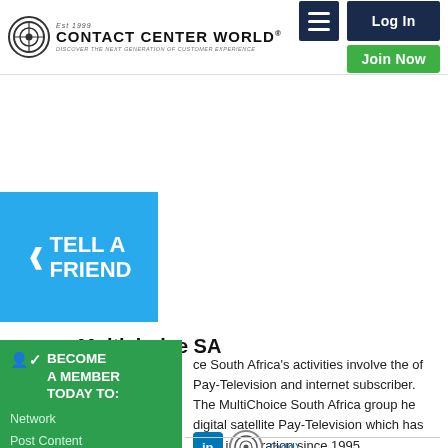Contact Center World | Log In | Join Now
[Figure (screenshot): Tell A Friend blue button with share icon on left sidebar]
Multichoice SA
[Figure (screenshot): Become A Member Today To: Network, Post Content, Enter Awards, + Much More green sidebar block]
ce South Africa's activities involve the of Pay-Television and internet subscriber. The MultiChoice South Africa group he digital satellite Pay-Television which has been in operation since 1995.
(add)